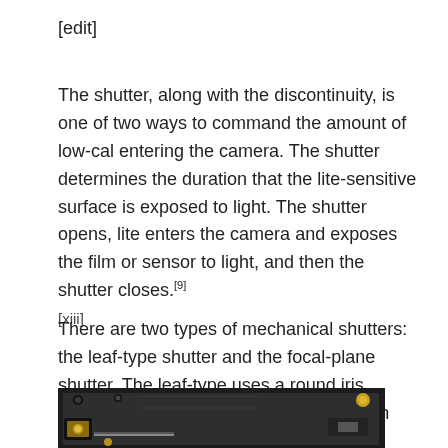[edit]
The shutter, along with the discontinuity, is one of two ways to command the amount of low-cal entering the camera. The shutter determines the duration that the lite-sensitive surface is exposed to light. The shutter opens, lite enters the camera and exposes the film or sensor to light, and then the shutter closes.[9]
[xiii]
There are two types of mechanical shutters: the leaf-type shutter and the focal-plane shutter. The leaf-type uses a round iris diaphragm maintained under leap tension inside or just behind the lens that rapidly opens and closes when the shutter is released.[10]
[Figure (photo): Photograph of a camera shutter mechanism, showing a dark metal component with gold/brass hardware details visible at the bottom.]